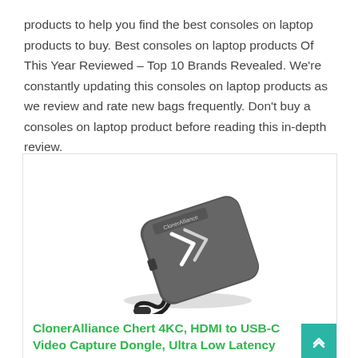products to help you find the best consoles on laptop products to buy. Best consoles on laptop products Of This Year Reviewed – Top 10 Brands Revealed. We're constantly updating this consoles on laptop products as we review and rate new bags frequently. Don't buy a consoles on laptop product before reading this in-depth review.
[Figure (photo): Photo of a ClonerAlliance Chert 4KC HDMI to USB-C video capture dongle device, dark gray with white chevron markings and a USB-C cable attached.]
ClonerAlliance Chert 4KC, HDMI to USB-C Video Capture Dongle, Ultra Low Latency